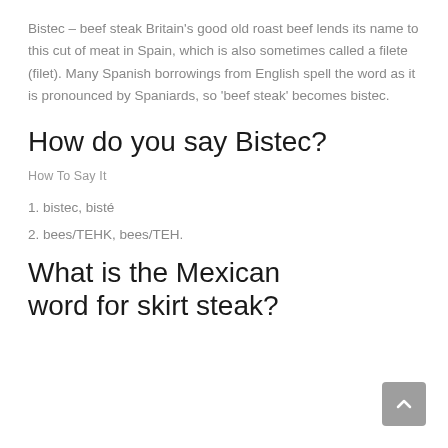Bistec – beef steak Britain's good old roast beef lends its name to this cut of meat in Spain, which is also sometimes called a filete (filet). Many Spanish borrowings from English spell the word as it is pronounced by Spaniards, so 'beef steak' becomes bistec.
How do you say Bistec?
How To Say It
1. bistec, bisté
2. bees/TEHK, bees/TEH.
What is the Mexican word for skirt steak?